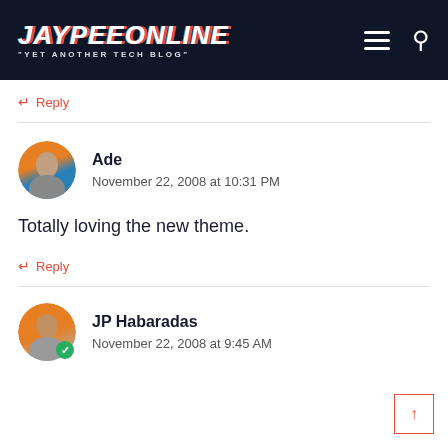JAYPEEONLINE "YET ANOTHER TECH BLOG"
↩ Reply
Ade
November 22, 2008 at 10:31 PM
Totally loving the new theme.
↩ Reply
JP Habaradas
November 22, 2008 at 9:45 AM